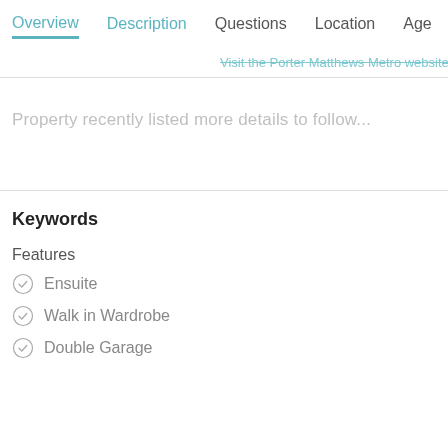Overview | Description | Questions | Location | Age
Visit the Porter Matthews Metro website
Property recently listed more details to follow...
Keywords
Features
Ensuite
Walk in Wardrobe
Double Garage